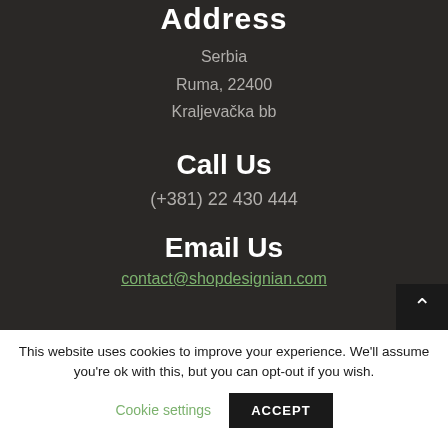Address
Serbia
Ruma, 22400
Kraljevačka bb
Call Us
(+381) 22 430 444
Email Us
contact@shopdesignian.com
This website uses cookies to improve your experience. We'll assume you're ok with this, but you can opt-out if you wish.
Cookie settings | ACCEPT